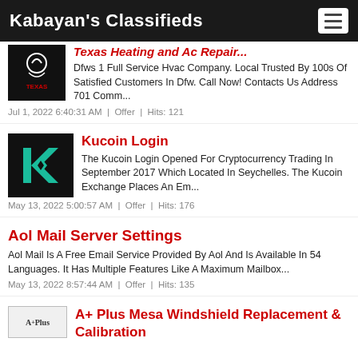Kabayan's Classifieds
Texas Heating and AC Repair
Dfws 1 Full Service Hvac Company. Local Trusted By 100s Of Satisfied Customers In Dfw. Call Now! Contacts Us Address 701 Comm...
Jul 1, 2022 6:40:31 AM | Offer | Hits: 121
Kucoin Login
The Kucoin Login Opened For Cryptocurrency Trading In September 2017 Which Located In Seychelles. The Kucoin Exchange Places An Em...
May 13, 2022 5:00:57 AM | Offer | Hits: 176
Aol Mail Server Settings
Aol Mail Is A Free Email Service Provided By Aol And Is Available In 54 Languages. It Has Multiple Features Like A Maximum Mailbox...
May 13, 2022 8:57:44 AM | Offer | Hits: 135
A+ Plus Mesa Windshield Replacement & Calibration